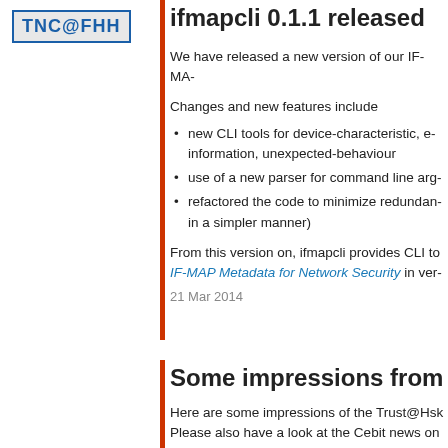[Figure (logo): TNC@FHH logo in blue text on grey background with blue border]
ifmapcli 0.1.1 released
We have released a new version of our IF-MA-
Changes and new features include
new CLI tools for device-characteristic, e- information, unexpected-behaviour
use of a new parser for command line arg-
refactored the code to minimize redundan- in a simpler manner)
From this version on, ifmapcli provides CLI to IF-MAP Metadata for Network Security in ver-
21 Mar 2014
Some impressions from
Here are some impressions of the Trust@Hsk Please also have a look at the Cebit news on